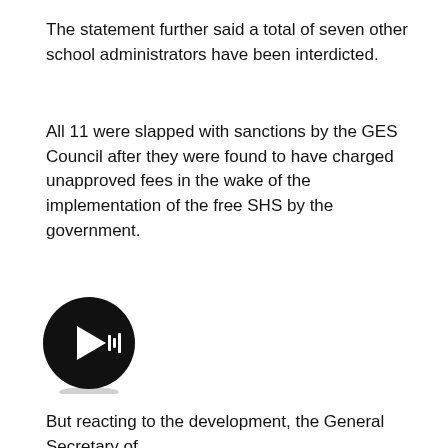The statement further said a total of seven other school administrators have been interdicted.
All 11 were slapped with sanctions by the GES Council after they were found to have charged unapproved fees in the wake of the implementation of the free SHS by the government.
[Figure (other): A circular black play button icon with a play triangle and audio waveform bars in white]
But reacting to the development, the General Secretary of